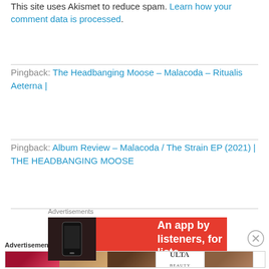This site uses Akismet to reduce spam. Learn how your comment data is processed.
Pingback: The Headbanging Moose – Malacoda – Ritualis Aeterna |
Pingback: Album Review – Malacoda / The Strain EP (2021) | THE HEADBANGING MOOSE
Advertisements
[Figure (screenshot): Red advertisement banner with white text 'An app by listeners, for listeners' and a phone image on left]
Advertisements
[Figure (screenshot): Ulta beauty advertisement banner with makeup/cosmetics images and SHOP NOW text]